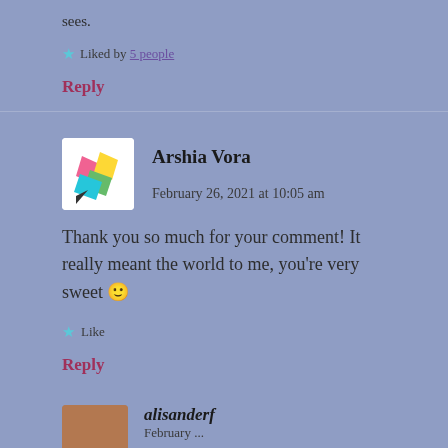sees.
Liked by 5 people
Reply
Arshia Vora   February 26, 2021 at 10:05 am
Thank you so much for your comment! It really meant the world to me, you're very sweet 🙂
Like
Reply
alisanderf   February ...